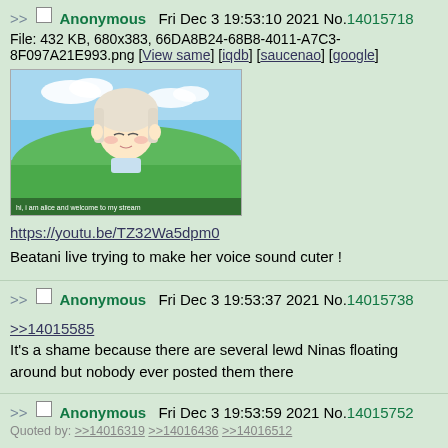>> Anonymous Fri Dec 3 19:53:10 2021 No.14015718
File: 432 KB, 680x383, 66DA8B24-68B8-4011-A7C3-8F097A21E993.png [View same] [iqdb] [saucenao] [google]
[thumbnail image]
https://youtu.be/TZ32Wa5dpm0
Beatani live trying to make her voice sound cuter !
>> Anonymous Fri Dec 3 19:53:37 2021 No.14015738
>>14015585
It's a shame because there are several lewd Ninas floating around but nobody ever posted them there
>> Anonymous Fri Dec 3 19:53:59 2021 No.14015752
Quoted by: >>14016319 >>14016436 >>14016512
>>14015585
>Nobody drew Nina porn
Not sure I believe that